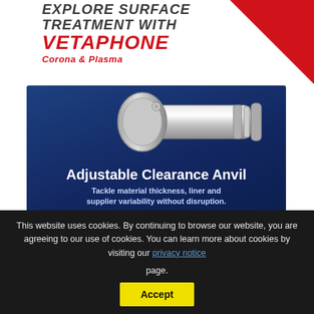[Figure (illustration): Vetaphone Corona & Plasma surface treatment advertisement banner with red triangle graphic in top right, showing brand name in red italic bold text]
[Figure (photo): RotoMetrics Adjustable Clearance Anvil advertisement on dark blue background, showing a chrome/silver cylindrical anvil tool, with bold white text 'Adjustable Clearance Anvil', subtitle 'Tackle material thickness, liner and supplier variability without disruption.' and RotoMetrics logo]
This website uses cookies. By continuing to browse our website, you are agreeing to our use of cookies. You can learn more about cookies by visiting our privacy notice page.
Accept